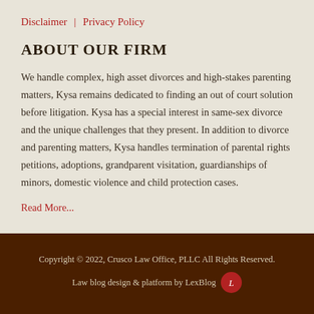Disclaimer | Privacy Policy
ABOUT OUR FIRM
We handle complex, high asset divorces and high-stakes parenting matters, Kysa remains dedicated to finding an out of court solution before litigation. Kysa has a special interest in same-sex divorce and the unique challenges that they present. In addition to divorce and parenting matters, Kysa handles termination of parental rights petitions, adoptions, grandparent visitation, guardianships of minors, domestic violence and child protection cases.
Read More...
Copyright © 2022, Crusco Law Office, PLLC All Rights Reserved.
Law blog design & platform by LexBlog